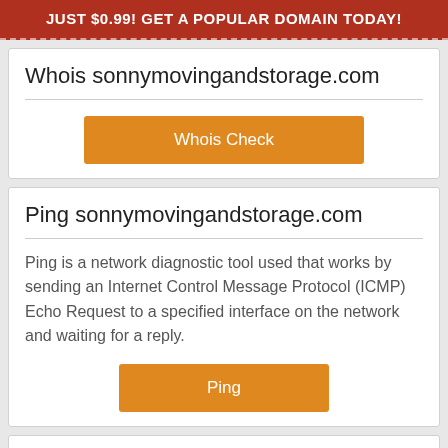JUST $0.99! GET A POPULAR DOMAIN TODAY!
Whois sonnymovingandstorage.com
Whois Check
Ping sonnymovingandstorage.com
Ping is a network diagnostic tool used that works by sending an Internet Control Message Protocol (ICMP) Echo Request to a specified interface on the network and waiting for a reply.
Ping
What is DNS Records of